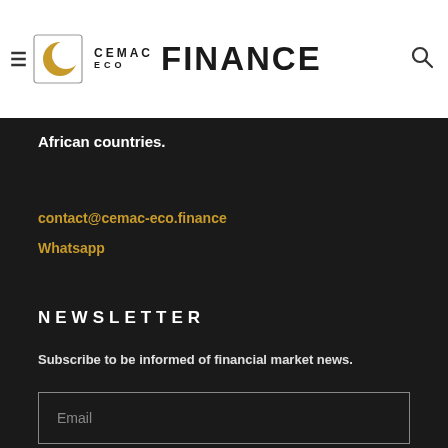CEMAC ECO FINANCE
African countries.
contact@cemac-eco.finance
Whatsapp
NEWSLETTER
Subscribe to be informed of financial market news.
Email